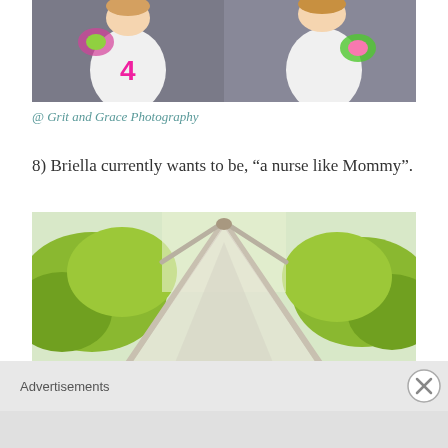[Figure (photo): Two young girls in white tank tops wearing decorative floral/bow accessories, posing against a gray background. One girl holds up a thumbs up. A pink '4' is visible on one shirt.]
@ Grit and Grace Photography
8) Briella currently wants to be, “a nurse like Mommy”.
[Figure (photo): Outdoor photo showing a white fabric teepee or tent structure made of wooden poles in a garden or yard setting with green trees and bushes in the background.]
Advertisements